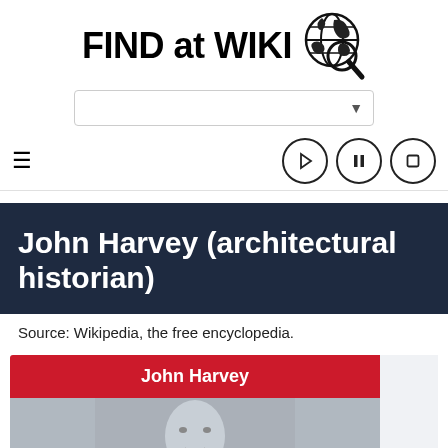[Figure (logo): FIND at WIKI logo with globe and magnifying glass icon]
[Figure (screenshot): Search bar dropdown with down arrow]
[Figure (screenshot): Navigation bar with hamburger menu and media player controls (play, pause, stop)]
John Harvey (architectural historian)
Source: Wikipedia, the free encyclopedia.
| John Harvey |
| --- |
| [photo of John Harvey] |